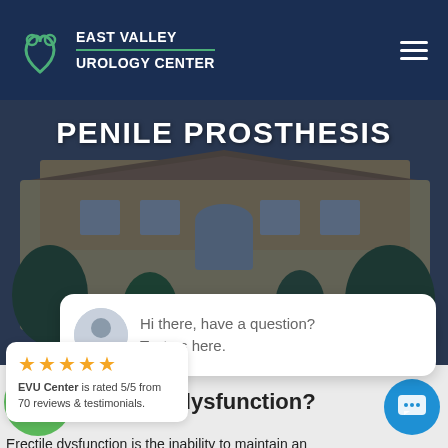EAST VALLEY UROLOGY CENTER
PENILE PROSTHESIS
[Figure (photo): Aerial/exterior photo of a medical building with trees and parking area, overlaid with dark blue tint]
close
★★★★★
EVU Center is rated 5/5 from 70 reviews & testimonials.
[Figure (photo): Chat bubble with woman avatar saying: Hi there, have a question? Text us here.]
s erectile dysfunction?
Erectile dysfunction is the inability to maintain an